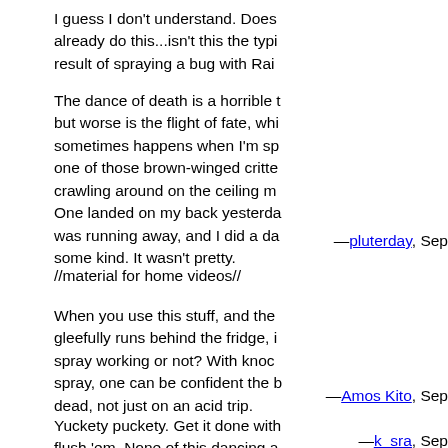I guess I don't understand. Does already do this...isn't this the typi result of spraying a bug with Rai
The dance of death is a horrible t but worse is the flight of fate, whi sometimes happens when I'm sp one of those brown-winged critte crawling around on the ceiling m One landed on my back yesterda was running away, and I did a da some kind. It wasn't pretty.
—pluterday, Sep
//material for home videos//
When you use this stuff, and the gleefully runs behind the fridge, i spray working or not? With knoc spray, one can be confident the b dead, not just on an acid trip.
—Amos Kito, Sep
Yuckety puckety. Get it done with flush 'em. None of this dancing a
—k_sra, Sep